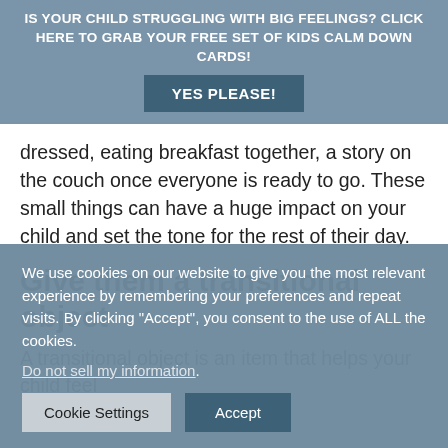IS YOUR CHILD STRUGGLING WITH BIG FEELINGS? CLICK HERE TO GRAB YOUR FREE SET OF KIDS CALM DOWN CARDS! YES PLEASE!
dressed, eating breakfast together, a story on the couch once everyone is ready to go. These small things can have a huge impact on your child and set the tone for the rest of their day.
Give them a transitional object
A transitional object is an item that helps your child feel
We use cookies on our website to give you the most relevant experience by remembering your preferences and repeat visits. By clicking "Accept", you consent to the use of ALL the cookies.
Do not sell my information.